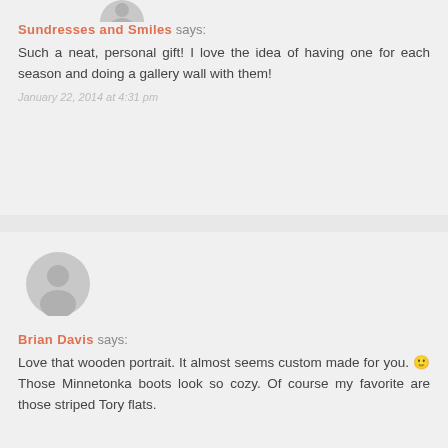[Figure (illustration): Gray circular avatar with person silhouette, partially visible at top]
Sundresses and Smiles says:
Such a neat, personal gift! I love the idea of having one for each season and doing a gallery wall with them!
January 22, 2014 at 4:31 pm
[Figure (illustration): Gray circular avatar with person silhouette]
Brian Davis says:
Love that wooden portrait. It almost seems custom made for you. 🙂 Those Minnetonka boots look so cozy. Of course my favorite are those striped Tory flats.